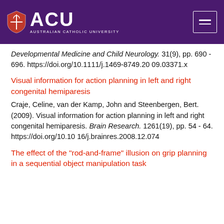[Figure (logo): ACU (Australian Catholic University) logo on purple header background with hamburger menu button]
Developmental Medicine and Child Neurology. 31(9), pp. 690 - 696. https://doi.org/10.1111/j.1469-8749.2009.03371.x
Visual information for action planning in left and right congenital hemiparesis
Craje, Celine, van der Kamp, John and Steenbergen, Bert. (2009). Visual information for action planning in left and right congenital hemiparesis. Brain Research. 1261(19), pp. 54 - 64. https://doi.org/10.1016/j.brainres.2008.12.074
The effect of the "rod-and-frame" illusion on grip planning in a sequential object manipulation task